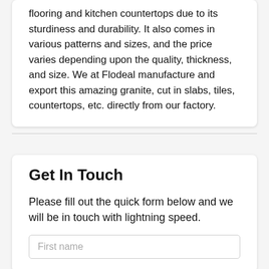flooring and kitchen countertops due to its sturdiness and durability. It also comes in various patterns and sizes, and the price varies depending upon the quality, thickness, and size. We at Flodeal manufacture and export this amazing granite, cut in slabs, tiles, countertops, etc. directly from our factory.
Get In Touch
Please fill out the quick form below and we will be in touch with lightning speed.